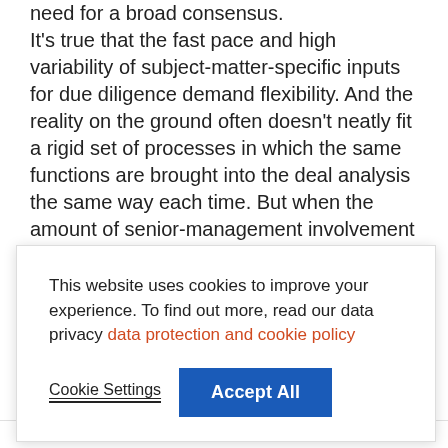need for a broad consensus. It's true that the fast pace and high variability of subject-matter-specific inputs for due diligence demand flexibility. And the reality on the ground often doesn't neatly fit a rigid set of processes in which the same functions are brought into the deal analysis the same way each time. But when the amount of senior-management involvement in the M&A recipe is
This website uses cookies to improve your experience. To find out more, read our data privacy data protection and cookie policy
Cookie Settings    Accept All
Companies with CEO *very    All respondents    FME companies